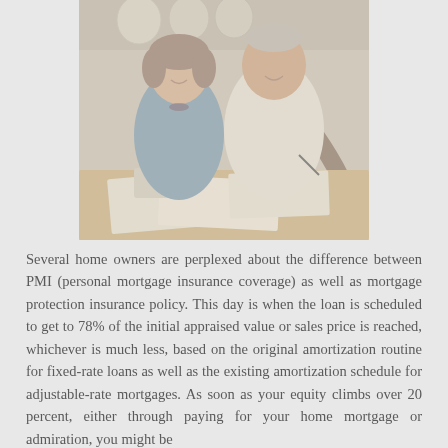[Figure (photo): An elderly couple sitting at a table, smiling and reviewing documents together. The woman is on the left wearing a blue top, and the man is on the right wearing a white shirt. There are plates visible on a shelf in the background.]
Several home owners are perplexed about the difference between PMI (personal mortgage insurance coverage) as well as mortgage protection insurance policy. This day is when the loan is scheduled to get to 78% of the initial appraised value or sales price is reached, whichever is much less, based on the original amortization routine for fixed-rate loans as well as the existing amortization schedule for adjustable-rate mortgages. As soon as your equity climbs over 20 percent, either through paying for your home mortgage or admiration, you might be